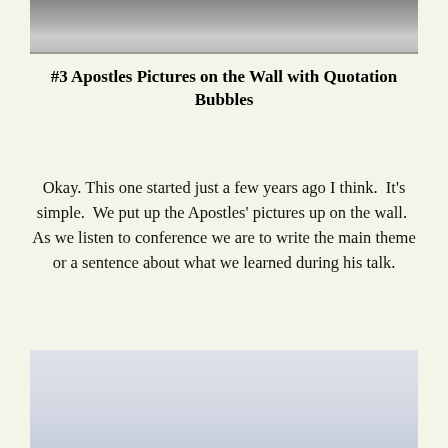[Figure (photo): Top portion of a photo showing a gray surface or ceiling, partially visible at the top of the page.]
#3 Apostles Pictures on the Wall with Quotation Bubbles
Okay. This one started just a few years ago I think.  It's simple.  We put up the Apostles' pictures up on the wall.  As we listen to conference we are to write the main theme or a sentence about what we learned during his talk.
[Figure (photo): Bottom portion of a photo showing a light blue-gray background, partially visible at the bottom of the page.]